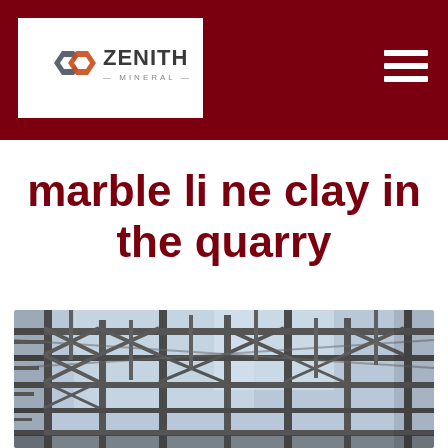ZENITH MINERAL
marble li ne clay in the quarry
[Figure (photo): Industrial steel structure scaffolding photographed from below against a pale blue sky, showing a complex lattice of metal beams, girders, and staircases.]